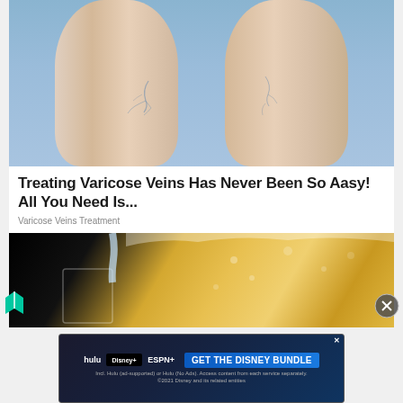[Figure (photo): Close-up photo of two human legs showing varicose veins against a light blue background]
Treating Varicose Veins Has Never Been So Aasy! All You Need Is...
Varicose Veins Treatment
[Figure (photo): Photo of water being poured into a glass, with bubbly liquid background]
[Figure (other): Disney Bundle advertisement banner with Hulu, Disney+, ESPN+ logos and GET THE DISNEY BUNDLE button]